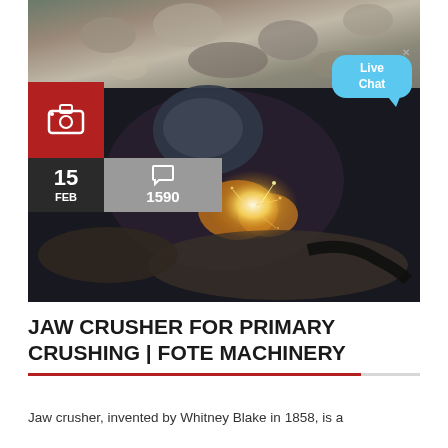[Figure (photo): Top: pile of crushed rock/aggregate material at a mining/quarry site. Bottom: welder in protective gear welding a large metal crusher component with bright sparks and arc flash visible.]
JAW CRUSHER FOR PRIMARY CRUSHING | FOTE MACHINERY
Jaw crusher, invented by Whitney Blake in 1858, is a